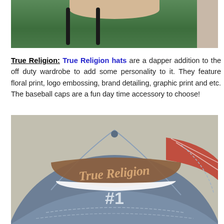[Figure (photo): Top portion of a straw hat against a green background with dark bag handles visible, with a beige strip on the right side.]
True Religion: True Religion hats are a dapper addition to the off duty wardrobe to add some personality to it. They feature floral print, logo embossing, brand detailing, graphic print and etc. The baseball caps are a fun day time accessory to choose!
[Figure (photo): A True Religion branded baseball cap in denim blue with 'True Religion #1' embroidered text, displayed against a light grey/beige background.]